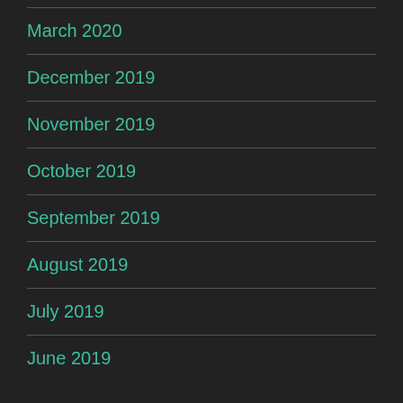March 2020
December 2019
November 2019
October 2019
September 2019
August 2019
July 2019
June 2019